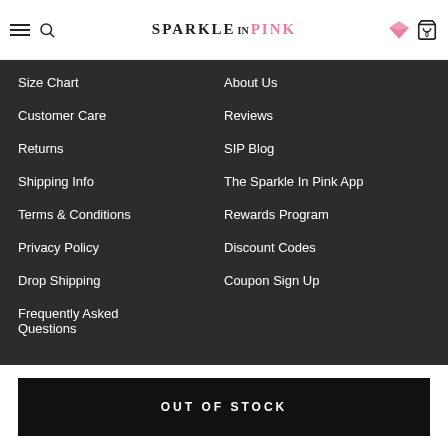SPARKLE IN PINK
Size Chart
About Us
Customer Care
Reviews
Returns
SIP Blog
Shipping Info
The Sparkle In Pink App
Terms & Conditions
Rewards Program
Privacy Policy
Discount Codes
Drop Shipping
Coupon Sign Up
Frequently Asked Questions
OUT OF STOCK